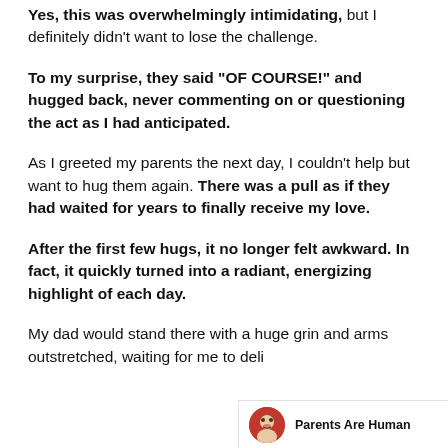Yes, this was overwhelmingly intimidating, but I definitely didn't want to lose the challenge.
To my surprise, they said "OF COURSE!" and hugged back, never commenting on or questioning the act as I had anticipated.
As I greeted my parents the next day, I couldn't help but want to hug them again. There was a pull as if they had waited for years to finally receive my love.
After the first few hugs, it no longer felt awkward. In fact, it quickly turned into a radiant, energizing highlight of each day.
My dad would stand there with a huge grin and arms outstretched, waiting for me to deli
Parents Are Human